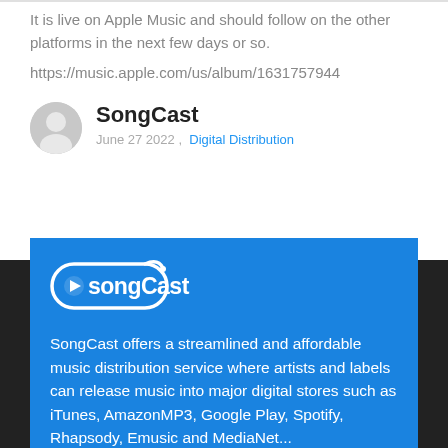It is live on Apple Music and should follow on the other platforms in the next few days or so.
https://music.apple.com/us/album/1631757944
SongCast
June 27 2022,  Digital Distribution
[Figure (logo): SongCast logo in white on blue background]
SongCast offers a streamlined and affordable music distribution service where artists and labels can release music into major digital stores such as iTunes, AmazonMP3, Google Play, Spotify, Rhapsody, Emusic and MediaNet...